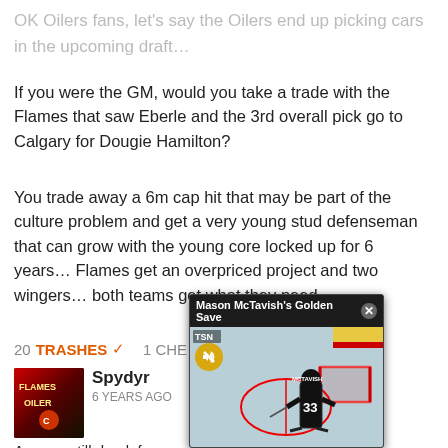OK Oilers fans, let's say the Oilers end up picking cars in the upcoming draft…
If you were the GM, would you take a trade with the Flames that saw Eberle and the 3rd overall pick go to Calgary for Dougie Hamilton?
You trade away a 6m cap hit that may be part of the culture problem and get a very young stud defenseman that can grow with the young core locked up for 6 years… Flames get an overpriced project and two wingers… both teams get what they need
20 TRASHES ↓  1 CHE
[Figure (screenshot): Video popup overlay showing 'Mason McTavish's Golden Save' with TSN branding and a hockey player in dark uniform near a goal, with mute button visible]
Spydyr
6 YEARS AGO
Are you still drunk fro
I would loot in Eberle has for Hamilton and the most